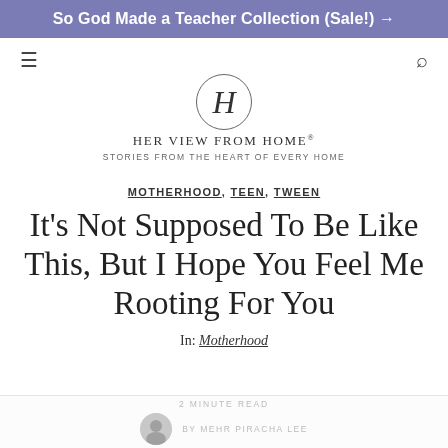So God Made a Teacher Collection (Sale!) →
[Figure (logo): HerViewFromHome logo with circle H, site name and tagline 'Stories From The Heart of Every Home']
MOTHERHOOD, TEEN, TWEEN
It's Not Supposed To Be Like This, But I Hope You Feel Me Rooting For You
In: Motherhood
2 MINUTE READ
BY MEHR PIRACHA LEE